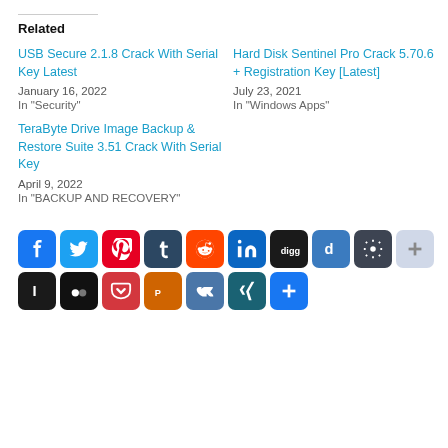Related
USB Secure 2.1.8 Crack With Serial Key Latest
January 16, 2022
In "Security"
Hard Disk Sentinel Pro Crack 5.70.6 + Registration Key [Latest]
July 23, 2021
In "Windows Apps"
TeraByte Drive Image Backup & Restore Suite 3.51 Crack With Serial Key
April 9, 2022
In "BACKUP AND RECOVERY"
[Figure (other): Row of social media sharing icons: Facebook, Twitter, Pinterest, Tumblr, Reddit, LinkedIn, Digg, Delicious, StumbleUpon, More; second row: Instapaper, Myspace, Pocket, Plurk, VK, XING, Share]